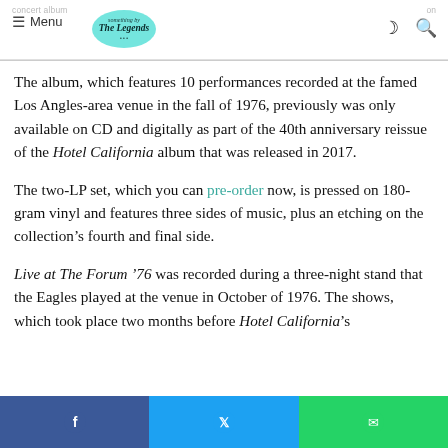concert album | on | Menu [logo]
The album, which features 10 performances recorded at the famed Los Angles-area venue in the fall of 1976, previously was only available on CD and digitally as part of the 40th anniversary reissue of the Hotel California album that was released in 2017.
The two-LP set, which you can pre-order now, is pressed on 180-gram vinyl and features three sides of music, plus an etching on the collection’s fourth and final side.
Live at The Forum ‘76 was recorded during a three-night stand that the Eagles played at the venue in October of 1976. The shows, which took place two months before Hotel California’s
Facebook share | Twitter share | WhatsApp share